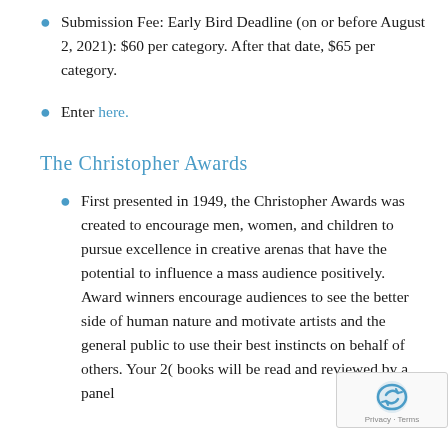Submission Fee: Early Bird Deadline (on or before August 2, 2021): $60 per category. After that date, $65 per category.
Enter here.
The Christopher Awards
First presented in 1949, the Christopher Awards was created to encourage men, women, and children to pursue excellence in creative arenas that have the potential to influence a mass audience positively. Award winners encourage audiences to see the better side of human nature and motivate artists and the general public to use their best instincts on behalf of others. Your 2( books will be read and reviewed by a panel